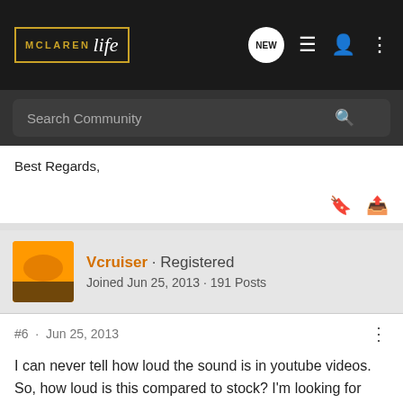McLaren Life · NEW · [nav icons]
Search Community
Best Regards,
Vcruiser · Registered
Joined Jun 25, 2013 · 191 Posts
#6 · Jun 25, 2013
I can never tell how loud the sound is in youtube videos. So, how loud is this compared to stock? I'm looking for something much louder than my stock car!
and what are the performance numbers?

Thanks!